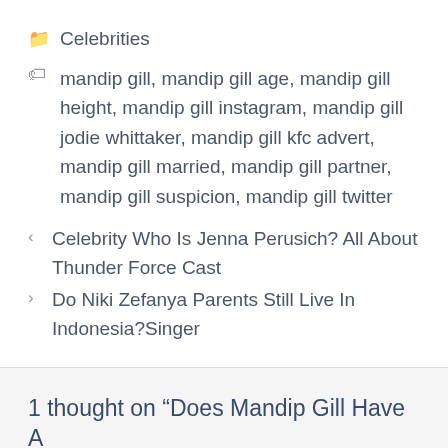Celebrities
mandip gill, mandip gill age, mandip gill height, mandip gill instagram, mandip gill jodie whittaker, mandip gill kfc advert, mandip gill married, mandip gill partner, mandip gill suspicion, mandip gill twitter
Celebrity Who Is Jenna Perusich? All About Thunder Force Cast
Do Niki Zefanya Parents Still Live In Indonesia?Singer
1 thought on “Does Mandip Gill Have A